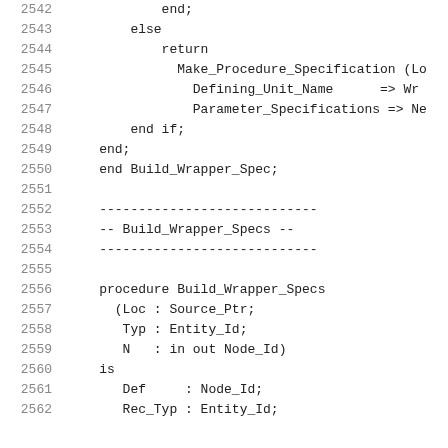2542        end;
2543    else
2544        return
2545            Make_Procedure_Specification (Lo
2546                Defining_Unit_Name      => Wr
2547                Parameter_Specifications => Ne
2548        end if;
2549    end;
2550    end Build_Wrapper_Spec;
2551
2552    ----------------------------
2553    -- Build_Wrapper_Specs --
2554    ----------------------------
2555
2556    procedure Build_Wrapper_Specs
2557      (Loc : Source_Ptr;
2558       Typ : Entity_Id;
2559       N   : in out Node_Id)
2560    is
2561       Def     : Node_Id;
2562       Rec_Typ : Entity_Id;